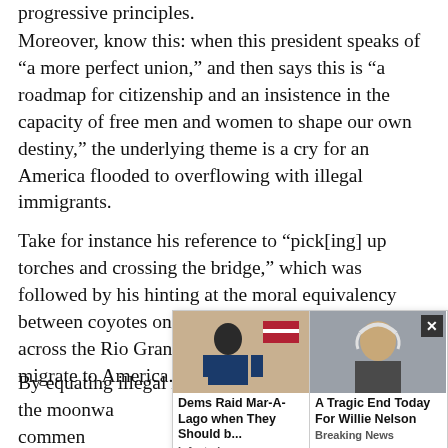progressive principles.
Moreover, know this: when this president speaks of “a more perfect union,” and then says this is “a roadmap for citizenship and an insistence in the capacity of free men and women to shape our own destiny,” the underlying theme is a cry for an America flooded to overflowing with illegal immigrants.
Take for instance his reference to “pick[ing] up torches and crossing the bridge,” which was followed by his hinting at the moral equivalency between coyotes on jet skis smuggling illegals across the Rio Grande and those who legally migrate to America.
By equating illegal immigrants with Iwo Jima and the moonwa... commen... essfully use Selm... accompl...
[Figure (screenshot): Ad overlay with two news thumbnails. Left: photo of Trump with text 'Dems Raid Mar-A-Lago when They Should b...' source 'Infected'. Right: photo of elderly man with text 'A Tragic End Today For Willie Nelson' source 'Breaking News'. Close button (x) in top right.]